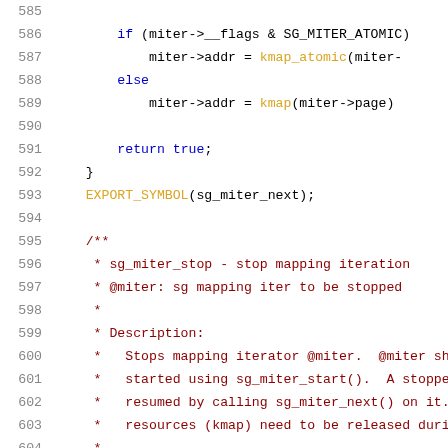[Figure (screenshot): Source code listing lines 585-605 showing C kernel code with syntax highlighting. Line numbers in gray on the left, keywords in blue, function names in yellow/gold, comments in dark red.]